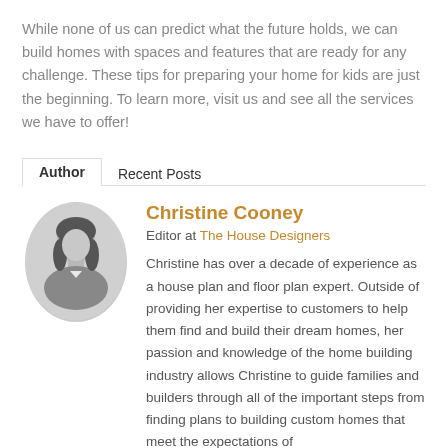While none of us can predict what the future holds, we can build homes with spaces and features that are ready for any challenge. These tips for preparing your home for kids are just the beginning. To learn more, visit us and see all the services we have to offer!
Author   Recent Posts
[Figure (photo): Black and white oval portrait photo of Christine Cooney]
Christine Cooney
Editor at The House Designers
Christine has over a decade of experience as a house plan and floor plan expert. Outside of providing her expertise to customers to help them find and build their dream homes, her passion and knowledge of the home building industry allows Christine to guide families and builders through all of the important steps from finding plans to building custom homes that meet the expectations of